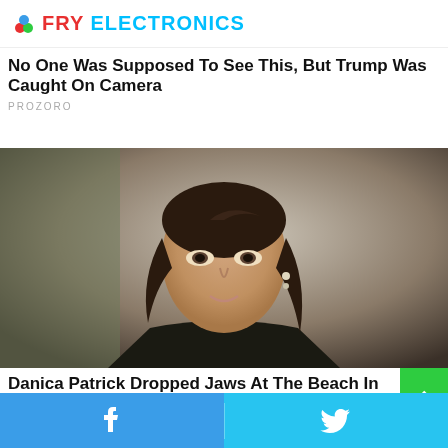Fry Electronics
No One Was Supposed To See This, But Trump Was Caught On Camera
PROZORO
[Figure (photo): Close-up photo of a woman with long dark hair, wearing a dark outfit, against a light background]
Danica Patrick Dropped Jaws At The Beach In A Inappropriate Suit
Facebook share | Twitter share